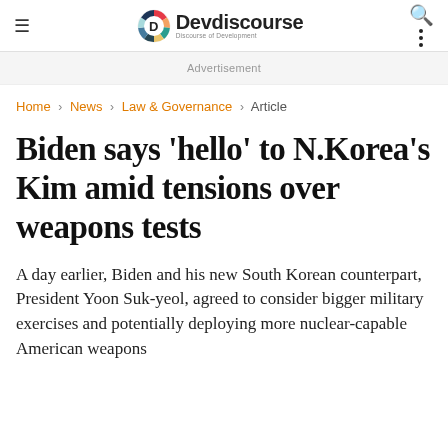Devdiscourse — Discourse of Development
Advertisement
Home > News > Law & Governance > Article
Biden says 'hello' to N.Korea's Kim amid tensions over weapons tests
A day earlier, Biden and his new South Korean counterpart, President Yoon Suk-yeol, agreed to consider bigger military exercises and potentially deploying more nuclear-capable American weapons